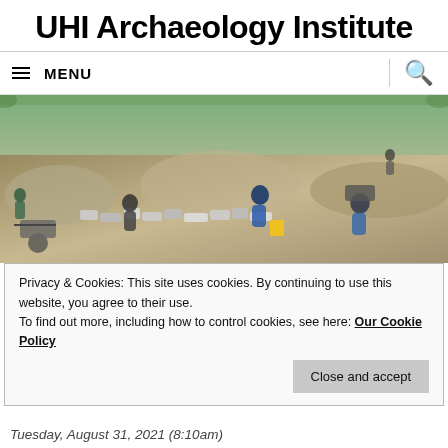UHI Archaeology Institute
≡ MENU
[Figure (photo): Archaeological excavation site showing several people digging and examining stone walls and rubble. Workers are crouched over stone foundations, with wheelbarrows visible in the background on a rocky hillside.]
Privacy & Cookies: This site uses cookies. By continuing to use this website, you agree to their use. To find out more, including how to control cookies, see here: Our Cookie Policy
Close and accept
very productive da...
Tuesday, August 31, 2021 (8:10am)